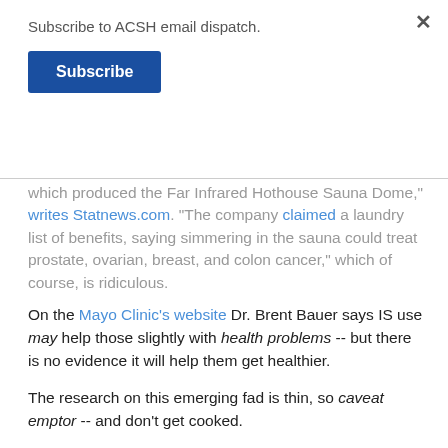Subscribe to ACSH email dispatch.
Subscribe
which produced the Far Infrared Hothouse Sauna Dome," writes Statnews.com. "The company claimed a laundry list of benefits, saying simmering in the sauna could treat prostate, ovarian, breast, and colon cancer," which of course, is ridiculous.
On the Mayo Clinic's website Dr. Brent Bauer says IS use may help those slightly with health problems -- but there is no evidence it will help them get healthier.
The research on this emerging fad is thin, so caveat emptor -- and don't get cooked.
Tags: Celebrities   health benefits   sauna   infrared sauna